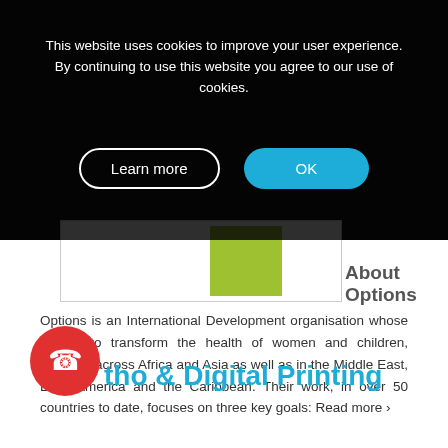This website uses cookies to improve your user experience. By continuing to use this website you agree to our use of cookies.
Learn more   OK
About Options
Options is an International Development organisation whose aim is to transform the health of women and children, primarily across Africa and Asia as well as in the Middle East, Latin America and the Caribbean. Their work, in over 50 countries to date, focuses on three key goals: Read more ›
tho & Digital Printing